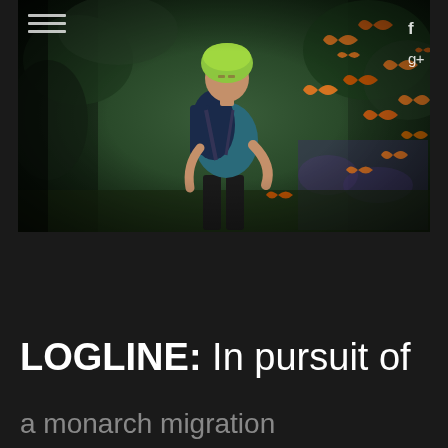[Figure (photo): A man wearing a green helmet and carrying a large backpack walks through a lush forest trail surrounded by orange monarch butterflies. He is wearing a teal blue t-shirt and dark pants. The background shows dense green foliage and purple flowers.]
LOGLINE: In pursuit of
a monarch migration